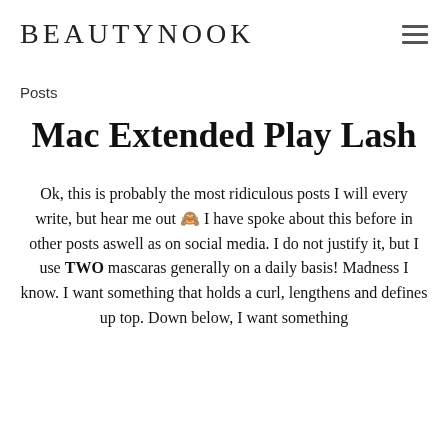BEAUTYNOOK
Posts
Mac Extended Play Lash
Ok, this is probably the most ridiculous posts I will every write, but hear me out 🙈 I have spoke about this before in other posts aswell as on social media. I do not justify it, but I use TWO mascaras generally on a daily basis! Madness I know. I want something that holds a curl, lengthens and defines up top. Down below, I want something